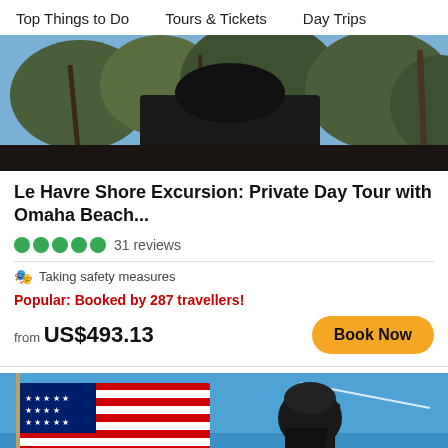Top Things to Do   Tours & Tickets   Day Trips
[Figure (photo): Outdoor photo showing bottom of a bronze statue with bare trees and blue sky in background]
Le Havre Shore Excursion: Private Day Tour with Omaha Beach...
31 reviews
Taking safety measures
Popular: Booked by 287 travellers!
from US$493.13
[Figure (photo): Photo of a bronze WWII soldier statue with American flag in background against blue sky]